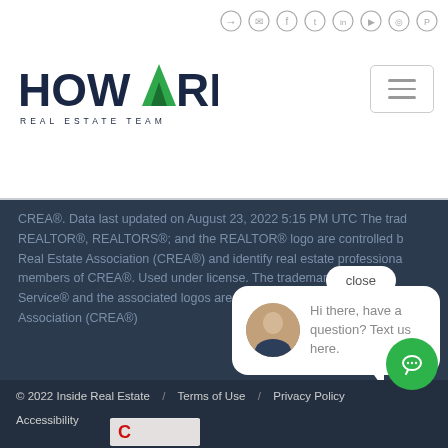[Figure (logo): Howard Real Estate Team logo with green mountain/arrow A]
[Figure (infographic): Social media icons: login, email, facebook, twitter, linkedin, youtube, instagram, pinterest]
[Figure (infographic): Hamburger menu button]
CREA®. Data last updated on August 23, 2022 5:15 PM UTC The trademarks REALTOR®, REALTORS®; and the REALTOR® logo are controlled by The Canadian Real Estate Association (CREA®) and identify real estate professionals who are members of CREA®. Used under license. The trademarks MLS®, Multiple Listing Service® and the associated logos are owned by The Canadian Real Estate Association (CREA®)
Show More...
close
Hi there, have a question? Text us here.
© 2022 Inside Real Estate / Terms of Use / Privacy Policy Accessibility /
[Figure (infographic): Green circular chat/message button]